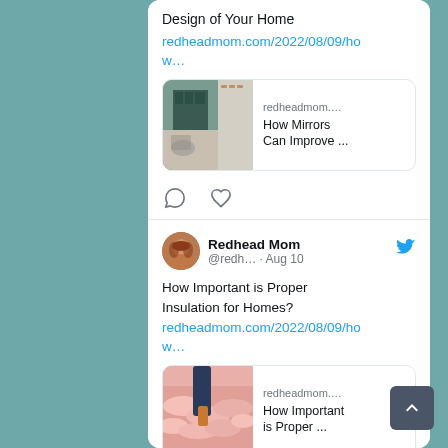Design of Your Home
redheadmom.com/2022/08/09/how…
[Figure (screenshot): Link preview card showing a modern kitchen/living room interior photo with text 'redheadmom.... How Mirrors Can Improve ...']
[Figure (screenshot): Tweet action icons: comment bubble and heart/like]
[Figure (screenshot): Twitter profile avatar of Redhead Mom, a woman with red hair]
Redhead Mom @redh… · Aug 10
How Important is Proper Insulation for Homes? redheadmom.com/2022/08/09/how…
[Figure (screenshot): Link preview card showing insulation photo with text 'redheadmom.... How Important is Proper ...']